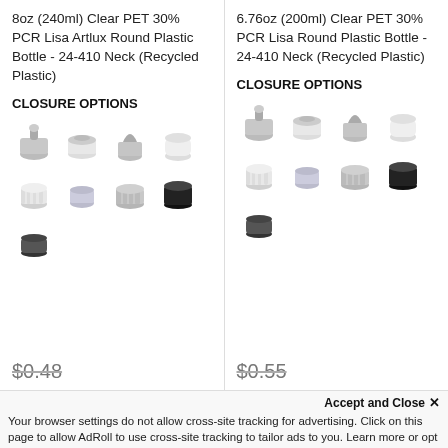8oz (240ml) Clear PET 30% PCR Lisa Artlux Round Plastic Bottle - 24-410 Neck (Recycled Plastic)
CLOSURE OPTIONS
[Figure (photo): Grid of 9 closure cap options in various colors and styles for the 8oz bottle]
$0.48
6.76oz (200ml) Clear PET 30% PCR Lisa Round Plastic Bottle - 24-410 Neck (Recycled Plastic)
CLOSURE OPTIONS
[Figure (photo): Grid of 9 closure cap options in various colors and styles for the 6.76oz bottle]
$0.55
Accept and Close ×
Your browser settings do not allow cross-site tracking for advertising. Click on this page to allow AdRoll to use cross-site tracking to tailor ads to you. Learn more or opt out of this AdRoll tracking by clicking here. This message only appears once.